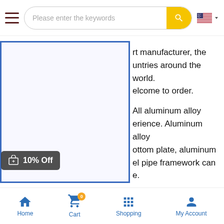Please enter the keywords
[Figure (photo): Product image placeholder with blue border, showing a stair-climbing cart. A dark badge overlay reads '10% Off' with a gift icon.]
...is a professional push cart manufacturer, the ...untries around the world. ...elcome to order. All aluminum alloy ...erience. Aluminum alloy ...ottom plate, aluminum ...el pipe framework can ...e. ...climbing cart can adjust to ...nore convenient to carry. ...y climbing triangle wheel is ...ing cart can easily climb ...ar with 16 bearings
Home  Cart  Shopping  My Account